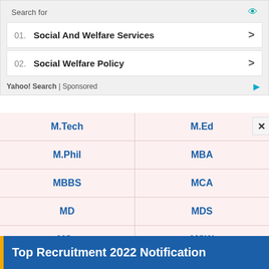[Figure (screenshot): Ad overlay: Search for Social And Welfare Services and Social Welfare Policy - Yahoo! Search Sponsored]
| M.Tech | M.Ed |
| M.Phil | MBA |
| MBBS | MCA |
| MD | MDS |
| MSc | MSW |
| PG Diploma | PGDM |
| Ph.D | Post Graduate |
Top Recruitment 2022 Notification